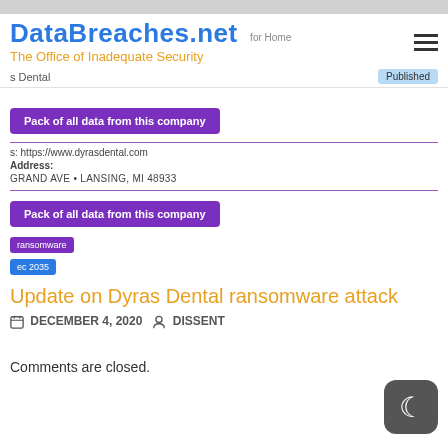DataBreaches.net — The Office of Inadequate Security
s Dental
Pack of all data from this company
s: https://www.dyrasdental.com
Address: GRAND AVE • LANSING, MI 48933
Pack of all data from this company
ransomware
ec 2035
Update on Dyras Dental ransomware attack
DECEMBER 4, 2020   DISSENT
Comments are closed.